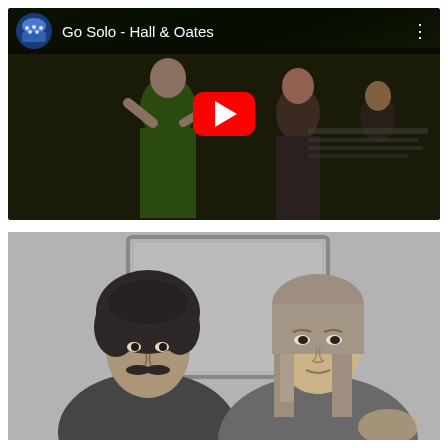[Figure (screenshot): YouTube video thumbnail showing 'Go Solo - Hall & Oates' with channel icon, title text, three-dot menu, and a red play button overlaid on a dark scene of performers]
[Figure (photo): Black and white photograph of two young men sitting together, one with curly hair and a mustache on the left (Oates), and one with longer straight hair on the right (Hall)]